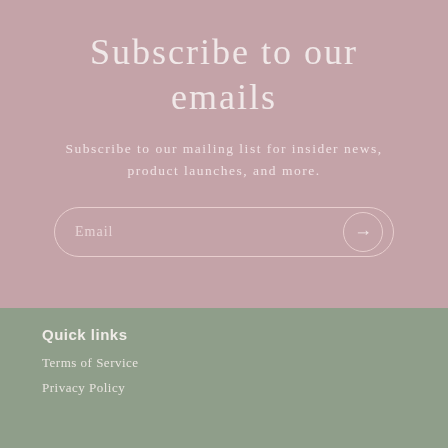Subscribe to our emails
Subscribe to our mailing list for insider news, product launches, and more.
Quick links
Terms of Service
Privacy Policy